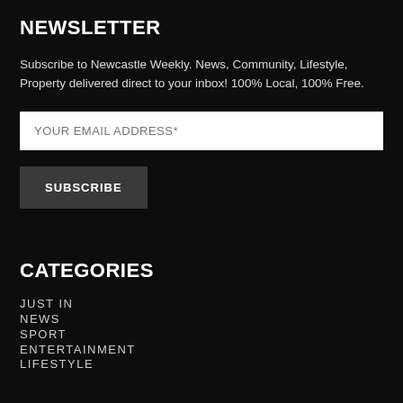NEWSLETTER
Subscribe to Newcastle Weekly. News, Community, Lifestyle, Property delivered direct to your inbox! 100% Local, 100% Free.
YOUR EMAIL ADDRESS*
SUBSCRIBE
CATEGORIES
JUST IN
NEWS
SPORT
ENTERTAINMENT
LIFESTYLE